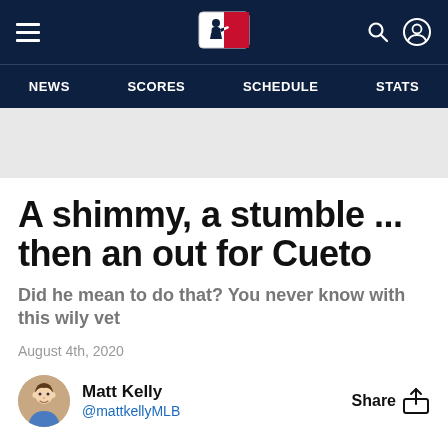MLB navigation: hamburger menu, MLB logo, search, account icons; NEWS, SCORES, SCHEDULE, STATS
[Figure (other): Gray banner/ad placeholder area]
A shimmy, a stumble ... then an out for Cueto
Did he mean to do that? You never know with this wily vet
August 4th, 2020
Matt Kelly @mattkellyMLB
Share